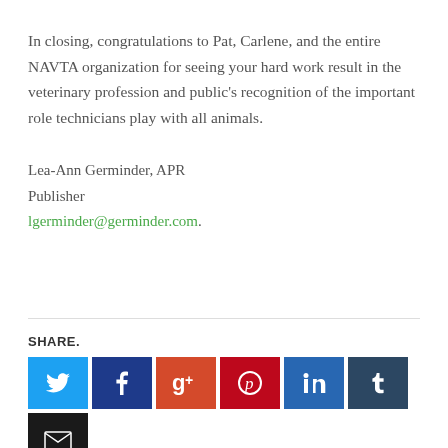In closing, congratulations to Pat, Carlene, and the entire NAVTA organization for seeing your hard work result in the veterinary profession and public's recognition of the important role technicians play with all animals.
Lea-Ann Germinder, APR
Publisher
lgerminder@germinder.com.
SHARE.